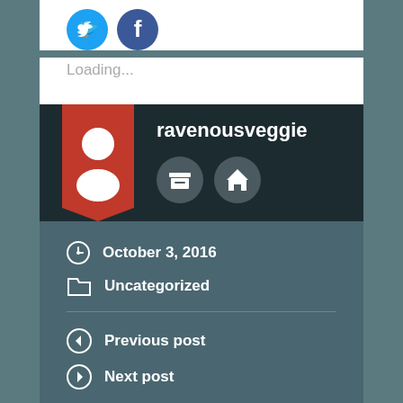[Figure (screenshot): Social share buttons (Twitter blue circle and Facebook blue circle) at the top of a white card]
Loading...
[Figure (illustration): Author avatar ribbon with red bookmark ribbon and white person silhouette icon]
ravenousveggie
[Figure (illustration): Two circular dark grey buttons with archive and home icons]
October 3, 2016
Uncategorized
Previous post
Next post